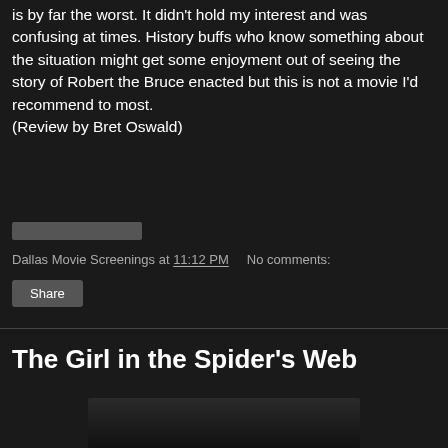is by far the worst. It didn't hold my interest and was confusing at times. History buffs who know something about the situation might get some enjoyment out of seeing the story of Robert the Bruce enacted but this is not a movie I'd recommend to most.
(Review by Bret Oswald)
[Figure (other): Small dark horizontal bar/divider element]
Dallas Movie Screenings at 11:12 PM   No comments:
Share
The Girl in the Spider's Web
[Figure (photo): Partially visible movie still image at bottom of page, dark tones]